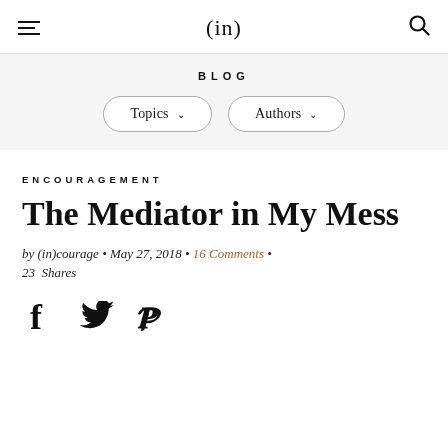(in)
BLOG
Topics ▾   Authors ▾
ENCOURAGEMENT
The Mediator in My Mess
by (in)courage • May 27, 2018 • 16 Comments • 23  Shares
[Figure (illustration): Social share icons: Facebook (f), Twitter (bird), Pinterest (P)]